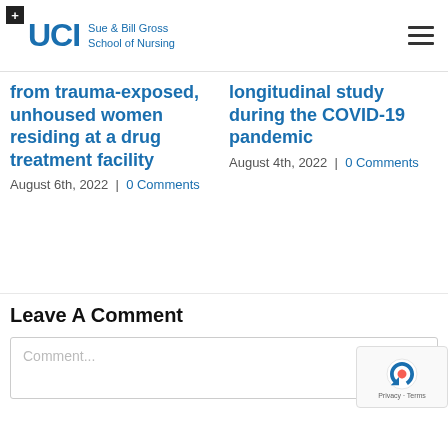[Figure (logo): UCI Sue & Bill Gross School of Nursing logo with hamburger menu icon]
from trauma-exposed, unhoused women residing at a drug treatment facility
August 6th, 2022  |  0 Comments
longitudinal study during the COVID-19 pandemic
August 4th, 2022  |  0 Comments
Leave A Comment
Comment...